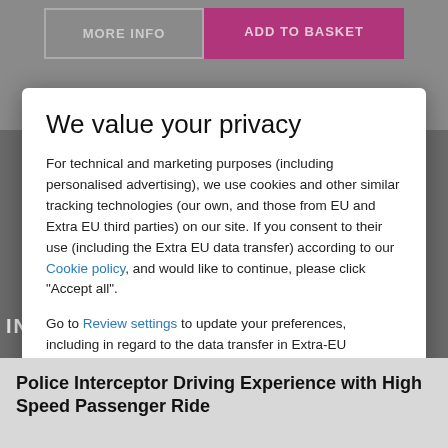MORE INFO
ADD TO BASKET
We value your privacy
For technical and marketing purposes (including personalised advertising), we use cookies and other similar tracking technologies (our own, and those from EU and Extra EU third parties) on our site. If you consent to their use (including the Extra EU data transfer) according to our Cookie policy, and would like to continue, please click "Accept all".
Go to Review settings to update your preferences, including in regard to the data transfer in Extra-EU countries, or click here to continue without non mandatory cookies.
ACCEPT ALL
Police Interceptor Driving Experience with High Speed Passenger Ride